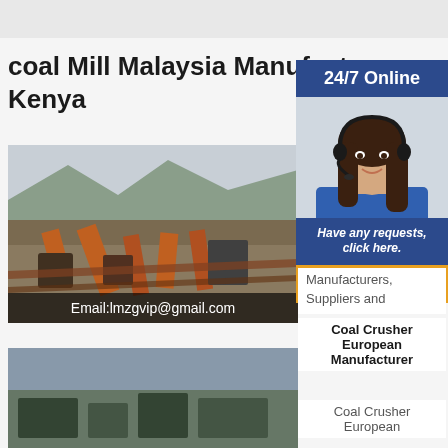coal Mill Malaysia Manufacturers Kenya
[Figure (photo): Mining facility with orange conveyor belts and machinery against a mountainous background. Email:lmzgvip@gmail.com overlay at bottom.]
[Figure (photo): 24/7 Online sidebar with woman wearing headset, Have any requests, click here. and Quotation button]
Manufacturers, Suppliers and
Coal Crusher European Manufacturer
Coal Crusher European
[Figure (photo): Second mining/industrial site photo at bottom left]